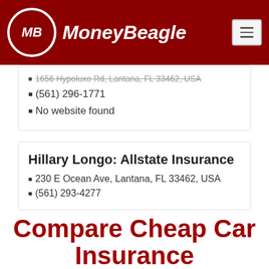MoneyBeagle
1656 Hypoluxo Rd, Lantana, FL 33462, USA
(561) 296-1771
No website found
Hillary Longo: Allstate Insurance
230 E Ocean Ave, Lantana, FL 33462, USA
(561) 293-4277
Compare Cheap Car Insurance Quotes Now
Enter Zip
Get Rates >